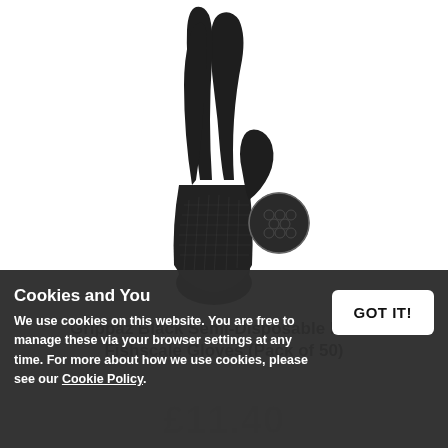[Figure (photo): Black Grippaz nitrile fishscale glove shown upside-down, hanging by fingertips against white background, with a circular inset showing the fishscale texture detail]
Grippaz Black Semi-Disposable Nitrile Fishscale Gloves (Pack of 50)
Cookies and You
We use cookies on this website. You are free to manage these via your browser settings at any time. For more about how we use cookies, please see our Cookie Policy.
£11.40